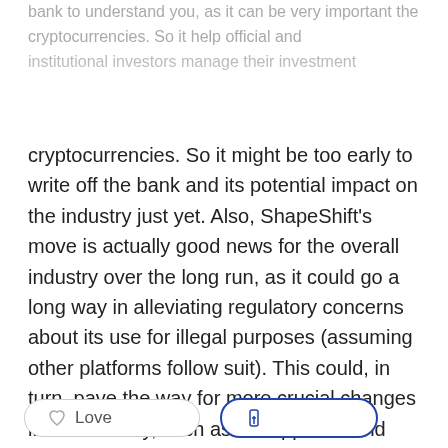bank to understand you, as it can be very important the cryptocurrencies. So it help official and institutional investors manage their investment
cryptocurrencies. So it might be too early to write off the bank and its potential impact on the industry just yet. Also, ShapeShift's move is actually good news for the overall industry over the long run, as it could go a long way in alleviating regulatory concerns about its use for illegal purposes (assuming other platforms follow suit). This could, in turn, pave the way for more crucial changes in the industry, such as the approval and launch of Bitcoin ETFs in the future.
Love   f share